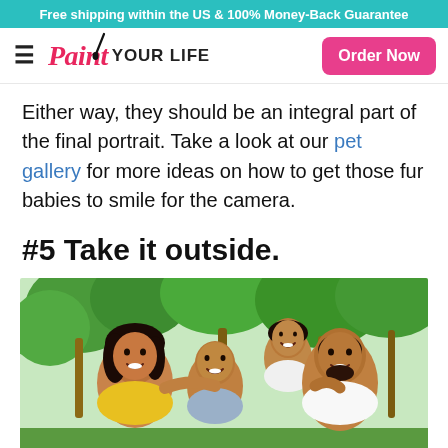Free shipping within the US & 100% Money-Back Guarantee
[Figure (logo): Paint Your Life logo with paintbrush icon, hamburger menu, and Order Now button]
Either way, they should be an integral part of the final portrait. Take a look at our pet gallery for more ideas on how to get those fur babies to smile for the camera.
#5 Take it outside.
[Figure (illustration): Painted portrait of a smiling family of four outdoors with palm trees in the background — mother, father, and two young children]